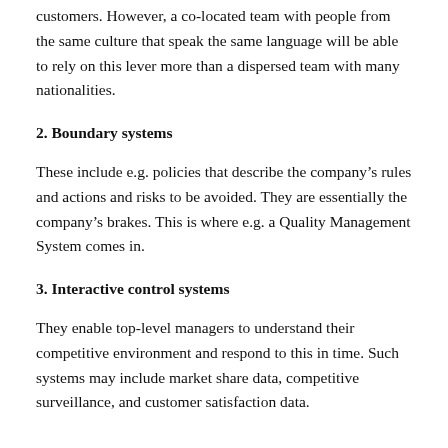customers. However, a co-located team with people from the same culture that speak the same language will be able to rely on this lever more than a dispersed team with many nationalities.
2. Boundary systems
These include e.g. policies that describe the company's rules and actions and risks to be avoided. They are essentially the company's brakes. This is where e.g. a Quality Management System comes in.
3. Interactive control systems
They enable top-level managers to understand their competitive environment and respond to this in time. Such systems may include market share data, competitive surveillance, and customer satisfaction data.